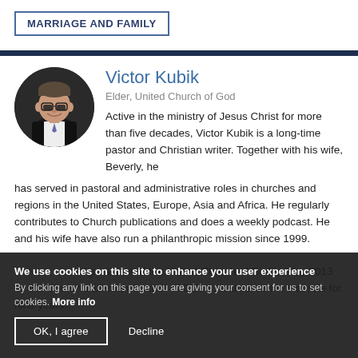MARRIAGE AND FAMILY
[Figure (photo): Circular headshot photo of Victor Kubik, a man wearing glasses and a suit with tie, smiling.]
Victor Kubik
Elder, United Church of God
Active in the ministry of Jesus Christ for more than five decades, Victor Kubik is a long-time pastor and Christian writer. Together with his wife, Beverly, he has served in pastoral and administrative roles in churches and regions in the United States, Europe, Asia and Africa. He regularly contributes to Church publications and does a weekly podcast. He and his wife have also run a philanthropic mission since 1999.
He was named president of the United Church of God in May 2013 by the Church's 12-man Council of Elders, and served in that role for nine years.
We use cookies on this site to enhance your user experience
By clicking any link on this page you are giving your consent for us to set cookies. More info
[OK, I agree] [Decline]